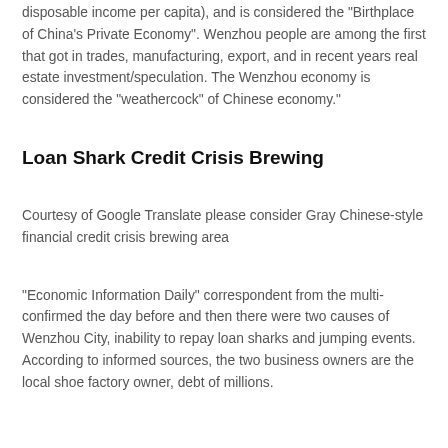disposable income per capita), and is considered the "Birthplace of China's Private Economy". Wenzhou people are among the first that got in trades, manufacturing, export, and in recent years real estate investment/speculation. The Wenzhou economy is considered the "weathercock" of Chinese economy."
Loan Shark Credit Crisis Brewing
Courtesy of Google Translate please consider Gray Chinese-style financial credit crisis brewing area
"Economic Information Daily" correspondent from the multi-confirmed the day before and then there were two causes of Wenzhou City, inability to repay loan sharks and jumping events. According to informed sources, the two business owners are the local shoe factory owner, debt of millions.